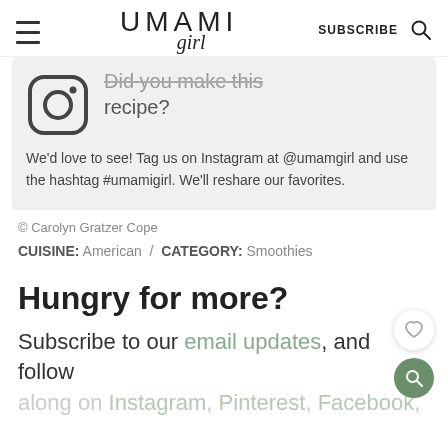UMAMI girl — SUBSCRIBE
[Figure (illustration): Instagram camera icon next to partially visible heading 'Did you make this recipe?' on a gray background box]
We'd love to see! Tag us on Instagram at @umamgirl and use the hashtag #umamigirl. We'll reshare our favorites.
© Carolyn Gratzer Cope
CUISINE: American / CATEGORY: Smoothies
Hungry for more?
Subscribe to our email updates, and follow along on Instagram, Pinterest, Facebook,